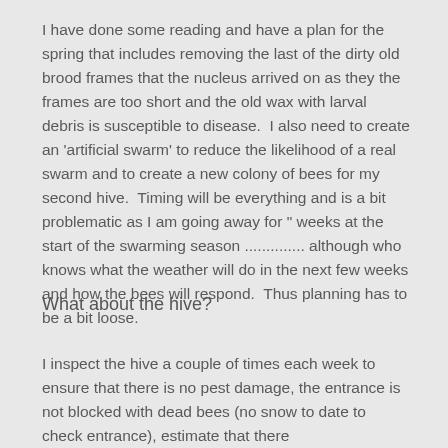I have done some reading and have a plan for the spring that includes removing the last of the dirty old brood frames that the nucleus arrived on as they the frames are too short and the old wax with larval debris is susceptible to disease.  I also need to create an 'artificial swarm' to reduce the likelihood of a real swarm and to create a new colony of bees for my second hive.  Timing will be everything and is a bit problematic as I am going away for " weeks at the start of the swarming season .............. although who knows what the weather will do in the next few weeks and how the bees will respond.  Thus planning has to be a bit loose.
What about the hive?
I inspect the hive a couple of times each week to ensure that there is no pest damage, the entrance is not blocked with dead bees (no snow to date to check entrance), estimate that there